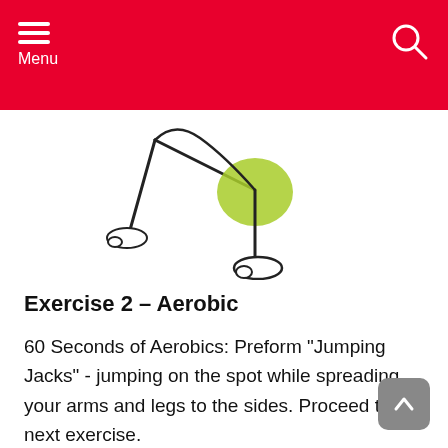Menu
[Figure (illustration): Partial illustration of a person doing a lunge exercise, showing legs and feet with green highlighted area on the knee/thigh, and a second figure showing legs standing upright, both in outline/cartoon style]
Exercise 2 – Aerobic
60 Seconds of Aerobics: Preform "Jumping Jacks" - jumping on the spot while spreading your arms and legs to the sides. Proceed to the next exercise.